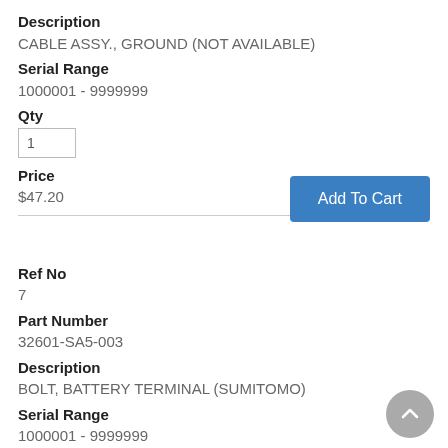Description
CABLE ASSY., GROUND (NOT AVAILABLE)
Serial Range
1000001 - 9999999
Qty
1
Price
$47.20
Add To Cart
Ref No
7
Part Number
32601-SA5-003
Description
BOLT, BATTERY TERMINAL (SUMITOMO)
Serial Range
1000001 - 9999999
Qty
1